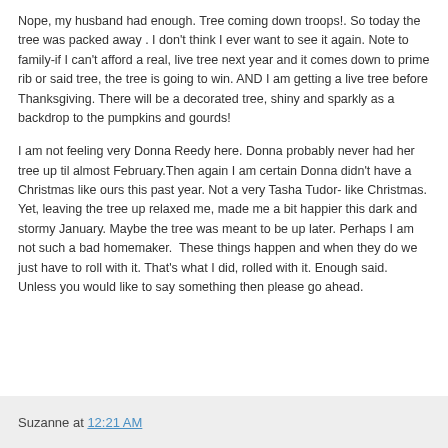Nope, my husband had enough. Tree coming down troops!. So today the tree was packed away . I don't think I ever want to see it again. Note to family-if I can't afford a real, live tree next year and it comes down to prime rib or said tree, the tree is going to win. AND I am getting a live tree before Thanksgiving. There will be a decorated tree, shiny and sparkly as a backdrop to the pumpkins and gourds!
I am not feeling very Donna Reedy here. Donna probably never had her tree up til almost February.Then again I am certain Donna didn't have a Christmas like ours this past year. Not a very Tasha Tudor- like Christmas. Yet, leaving the tree up relaxed me, made me a bit happier this dark and stormy January. Maybe the tree was meant to be up later. Perhaps I am not such a bad homemaker.  These things happen and when they do we just have to roll with it. That's what I did, rolled with it. Enough said.  Unless you would like to say something then please go ahead.
Suzanne at 12:21 AM